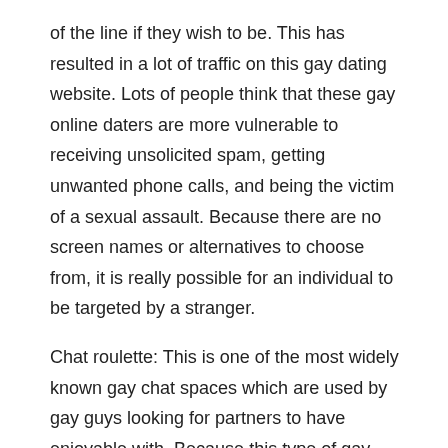of the line if they wish to be. This has resulted in a lot of traffic on this gay dating website. Lots of people think that these gay online daters are more vulnerable to receiving unsolicited spam, getting unwanted phone calls, and being the victim of a sexual assault. Because there are no screen names or alternatives to choose from, it is really possible for an individual to be targeted by a stranger.
Chat roulette: This is one of the most widely known gay chat spaces which are used by gay guys looking for partners to have enjoyable with. Because this type of gay dating chat is meant to be fun, members typically joke about sex on the chat pages.
Gay hookup: This type of gay online dating service is for individuals who would rather stick to their own neighborhoods but still pursue a little enjoyment in life. They can search for local gay clubs or gay communities, and can send out each other messages to arrange a meet. Chats Gay Puerto Rico